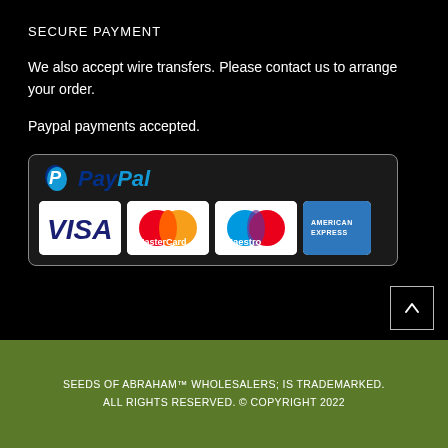SECURE PAYMENT
We also accept wire transfers. Please contact us to arrange your order.
Paypal payments accepted.
[Figure (logo): PayPal accepted payment badge showing PayPal logo and card logos: VISA, MasterCard, Maestro, American Express]
SEEDS OF ABRAHAM™ WHOLESALERS; IS TRADEMARKED. ALL RIGHTS RESERVED. © COPYRIGHT 2022